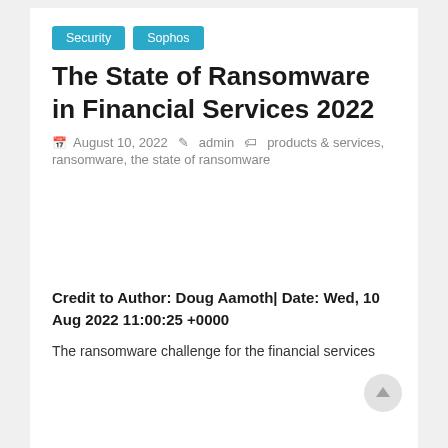Security  Sophos
The State of Ransomware in Financial Services 2022
August 10, 2022  admin  products & services, ransomware, the state of ransomware
Credit to Author: Doug Aamoth| Date: Wed, 10 Aug 2022 11:00:25 +0000
The ransomware challenge for the financial services